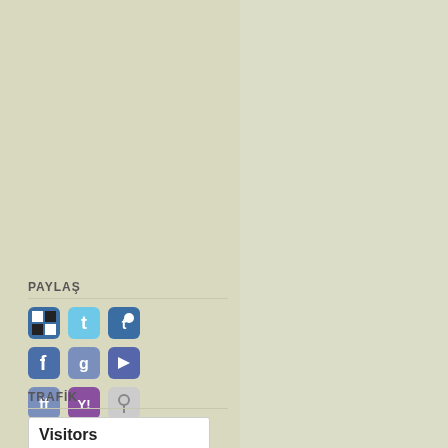PAYLAŞ
[Figure (screenshot): Social media sharing icons grid: 3x3 grid of social sharing buttons including Delicious, Twitter, Tumblr, Facebook, Google+, a red icon, FriendFeed, Yahoo, and another icon]
TRAFİK
| Flag | Code | Count |
| --- | --- | --- |
| TR flag | TR | 547,137 |
| US flag | US | 46,212 |
| RU flag | RU | 38,010 |